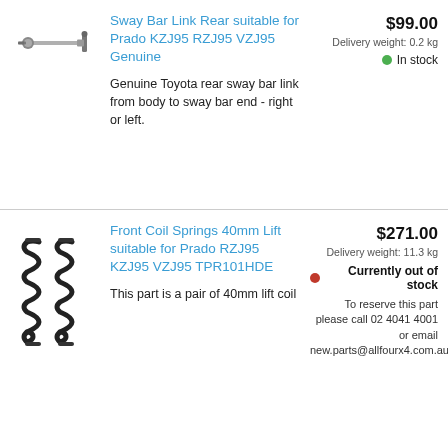[Figure (photo): Sway bar link rear part - a metal rod with end fittings]
Sway Bar Link Rear suitable for Prado KZJ95 RZJ95 VZJ95 Genuine
$99.00
Delivery weight: 0.2 kg
In stock
Genuine Toyota rear sway bar link from body to sway bar end - right or left.
[Figure (photo): Two black coil springs side by side]
Front Coil Springs 40mm Lift suitable for Prado RZJ95 KZJ95 VZJ95 TPR101HDE
$271.00
Delivery weight: 11.3 kg
Currently out of stock
To reserve this part please call 02 4041 4001 or email new.parts@allfourx4.com.au
This part is a pair of 40mm lift coil